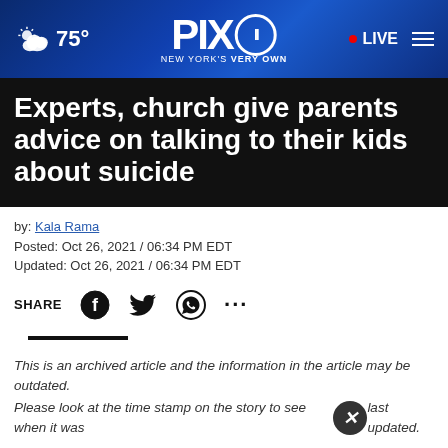PIX11 NEW YORK'S VERY OWN — LIVE — 75°
Experts, church give parents advice on talking to their kids about suicide
by: Kala Rama
Posted: Oct 26, 2021 / 06:34 PM EDT
Updated: Oct 26, 2021 / 06:34 PM EDT
SHARE
This is an archived article and the information in the article may be outdated. Please look at the time stamp on the story to see when it was last updated.
Top p... al last... children...
[Figure (screenshot): SHE CAN STEM advertisement banner]